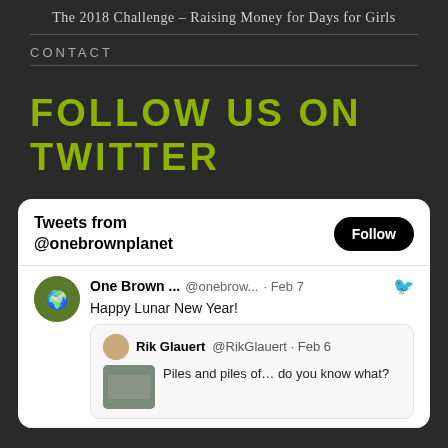The 2018 Challenge – Raising Money for Days for Girls
CONTACT
FOLLOW US ON TWITTER
[Figure (screenshot): Twitter widget showing 'Tweets from @onebrownplanet' with a Follow button. First tweet from One Brown ... @onebrow... Feb 7 says 'Happy Lunar New Year!' with a retweet from Rik Glauert @RikGlauert Feb 6 saying 'Piles and piles of... do you know what?']